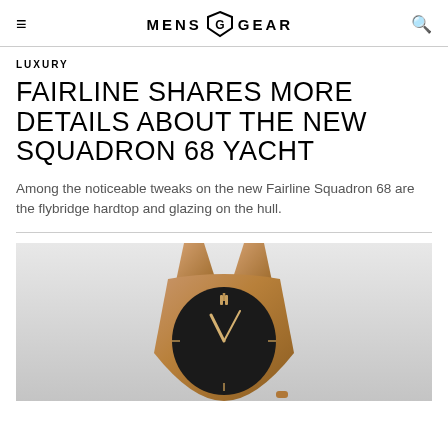MENS GEAR
LUXURY
FAIRLINE SHARES MORE DETAILS ABOUT THE NEW SQUADRON 68 YACHT
Among the noticeable tweaks on the new Fairline Squadron 68 are the flybridge hardtop and glazing on the hull.
[Figure (photo): A rose gold/bronze colored watch with a black dial, shown partially cropped at the bottom of the page]